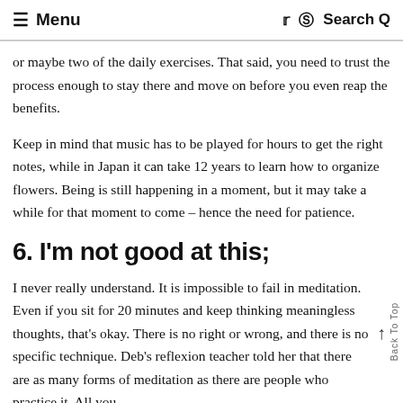≡ Menu   Search Q
or maybe two of the daily exercises. That said, you need to trust the process enough to stay there and move on before you even reap the benefits.
Keep in mind that music has to be played for hours to get the right notes, while in Japan it can take 12 years to learn how to organize flowers. Being is still happening in a moment, but it may take a while for that moment to come – hence the need for patience.
6. I'm not good at this;
I never really understand. It is impossible to fail in meditation. Even if you sit for 20 minutes and keep thinking meaningless thoughts, that's okay. There is no right or wrong, and there is no specific technique. Deb's reflexion teacher told her that there are as many forms of meditation as there are people who practice it. All you